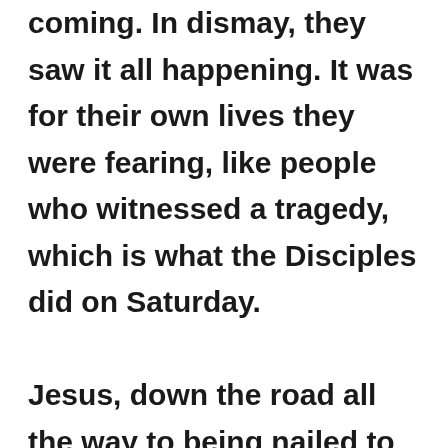coming. In dismay, they saw it all happening. It was for their own lives they were fearing, like people who witnessed a tragedy, which is what the Disciples did on Saturday.

Jesus, down the road all the way to being nailed to the cross they were following, and from His lifeless body taken from the cross into the tomb, His placing. On Saturday, the women were resting. (Luke